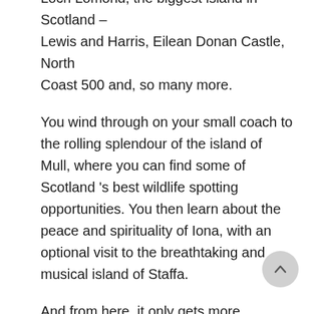Scotland covers many of the top must-dos. Loch Lomond, the biggest island in Scotland – Lewis and Harris, Eilean Donan Castle, North Coast 500 and, so many more.
You wind through on your small coach to the rolling splendour of the island of Mull, where you can find some of Scotland 's best wildlife spotting opportunities. You then learn about the peace and spirituality of Iona, with an optional visit to the breathtaking and musical island of Staffa.
And from here, it only gets more spectacular on this small group tour of Scotland.
You venture amongst the dramatic mountains of our most famous of islands, Skye, before heading to the Orkney archipelago, rich in archaeological treasures. Ullapool, nestling on